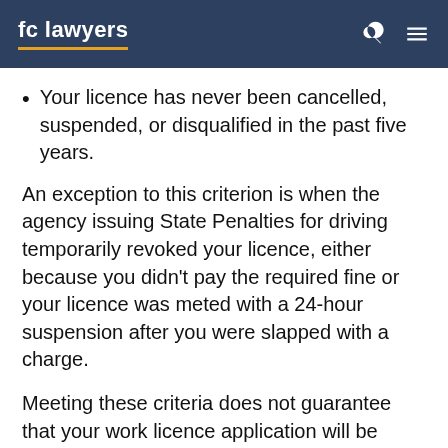fc lawyers
Your licence has never been cancelled, suspended, or disqualified in the past five years.
An exception to this criterion is when the agency issuing State Penalties for driving temporarily revoked your licence, either because you didn't pay the required fine or your licence was meted with a 24-hour suspension after you were slapped with a charge.
Meeting these criteria does not guarantee that your work licence application will be approved, as you also have to show the Magistrate that you are a fit and proper person and that you'll lose a job if you fail to get a work licence, which will in turn